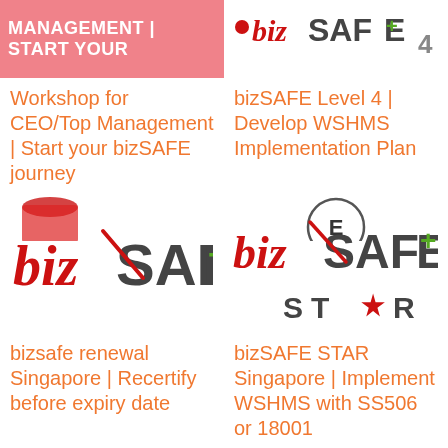[Figure (logo): bizSAFE pink/salmon banner with white text: MANAGEMENT | START YOUR]
[Figure (logo): bizSAFE Level 4 logo with red scripted 'biz' and grey SAFE text with green plus, and number 4]
Workshop for CEO/Top Management | Start your bizSAFE journey
bizSAFE Level 4 | Develop WSHMS Implementation Plan
[Figure (logo): bizSAFE logo: red scripted 'biz' and dark grey SAFE with green plus sign]
[Figure (logo): bizSAFE STAR logo: red scripted 'biz' and dark grey SAFE with green plus, STAR text with red star illustration]
bizsafe renewal Singapore | Recertify before expiry date
bizSAFE STAR Singapore | Implement WSHMS with SS506 or 18001
[Figure (logo): Partial logo at bottom left, red color, partially visible]
[Figure (logo): Partial circular logo at bottom right with letter E visible]